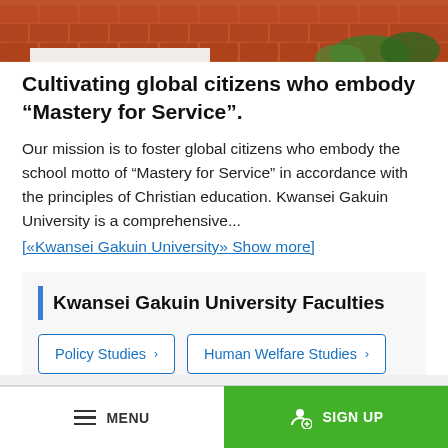[Figure (photo): Roof of a building with orange/terracotta tiles and green trees visible, cropped at the top of the page.]
Cultivating global citizens who embody “Mastery for Service”.
Our mission is to foster global citizens who embody the school motto of “Mastery for Service” in accordance with the principles of Christian education. Kwansei Gakuin University is a comprehensive...
[«Kwansei Gakuin University» Show more]
Kwansei Gakuin University Faculties
Policy Studies ›
Human Welfare Studies ›